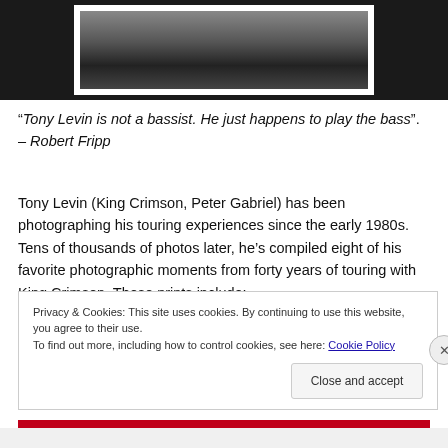[Figure (photo): Black and white photograph of a musician, partially visible, with white mat border against dark background]
“Tony Levin is not a bassist. He just happens to play the bass”. – Robert Fripp
Tony Levin (King Crimson, Peter Gabriel) has been photographing his touring experiences since the early 1980s. Tens of thousands of photos later, he’s compiled eight of his favorite photographic moments from forty years of touring with King Crimson. These prints include:
Privacy & Cookies: This site uses cookies. By continuing to use this website, you agree to their use.
To find out more, including how to control cookies, see here: Cookie Policy